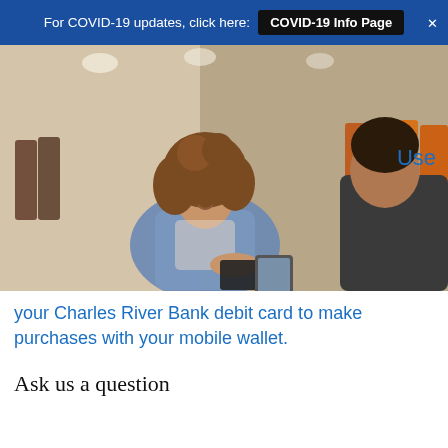For COVID-19 updates, click here: COVID-19 Info Page
[Figure (photo): A smiling young woman with curly brown hair using a debit card at a retail point-of-sale terminal, handing card to a cashier in a clothing store.]
Use your Charles River Bank debit card to make purchases with your mobile wallet.
Ask us a question